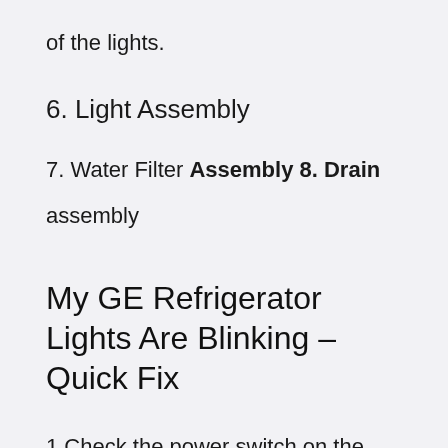of the lights.
6. Light Assembly
7. Water Filter Assembly 8. Drain
assembly
My GE Refrigerator Lights Are Blinking – Quick Fix
1 Check the power switch on the